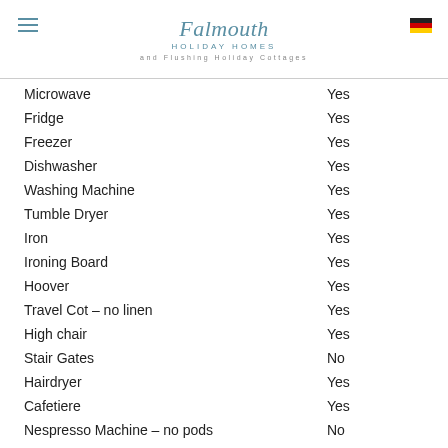Falmouth Holiday Homes and Flushing Holiday Cottages
|  |  |
| --- | --- |
| Microwave | Yes |
| Fridge | Yes |
| Freezer | Yes |
| Dishwasher | Yes |
| Washing Machine | Yes |
| Tumble Dryer | Yes |
| Iron | Yes |
| Ironing Board | Yes |
| Hoover | Yes |
| Travel Cot – no linen | Yes |
| High chair | Yes |
| Stair Gates | No |
| Hairdryer | Yes |
| Cafetiere | Yes |
| Nespresso Machine – no pods | No |